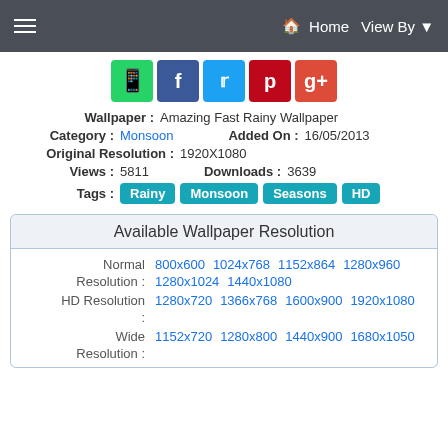≡  Home  View By ▾
[Figure (other): Social media share buttons: WhatsApp (green), Facebook (blue), Twitter (light blue), Pinterest (red), Google+ (dark red)]
Wallpaper : Amazing Fast Rainy Wallpaper
Category : Monsoon   Added On : 16/05/2013
Original Resolution : 1920X1080
Views : 5811   Downloads : 3639
Tags : Rainy  Monsoon  Seasons  HD
Available Wallpaper Resolution
Normal  800x600  1024x768  1152x864  1280x960
Resolution :  1280x1024  1440x1080
HD Resolution :  1280x720  1366x768  1600x900  1920x1080
:
Wide  1152x720  1280x800  1440x900  1680x1050
Resolution :